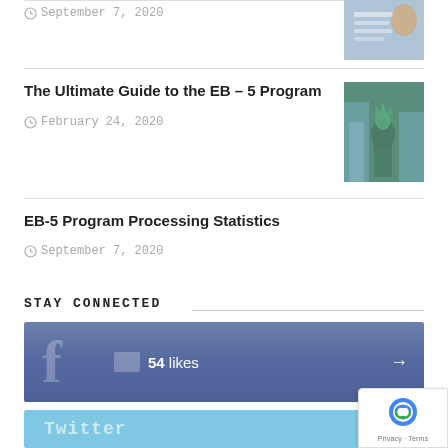September 7, 2020
[Figure (photo): Hands writing on paper, financial documents]
The Ultimate Guide to the EB – 5 Program
February 24, 2020
[Figure (photo): Statue of Liberty with city skyline]
EB-5 Program Processing Statistics
September 7, 2020
STAY CONNECTED
[Figure (screenshot): Facebook like button showing 54 likes]
[Figure (screenshot): Twitter social widget]
[Figure (logo): Google reCAPTCHA badge with Privacy and Terms links]